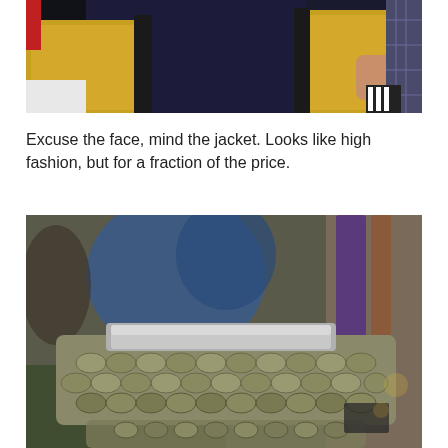[Figure (photo): Person wearing a yellow/mustard textured bouclé jacket with black trim, photographed from the torso down in what appears to be a store setting.]
Excuse the face, mind the jacket. Looks like high fashion, but for a fraction of the price.
[Figure (photo): Close-up of a snakeskin-patterned handbag or clutch with silver hardware, on display in what appears to be a thrift or vintage store, with blurred people and clothing racks in the background.]